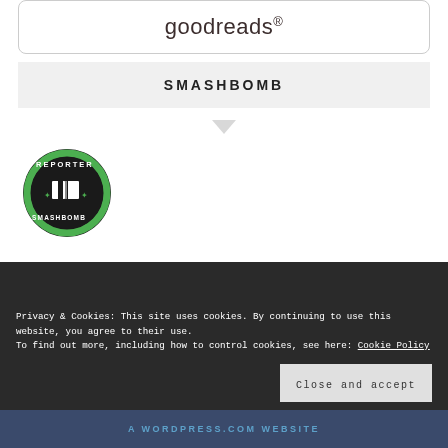[Figure (logo): Goodreads logo in a rounded rectangle box]
SMASHBOMB
[Figure (logo): Smashbomb Reporter badge — circular green and black badge with book icon and text REPORTER and SMASHBOMB]
Privacy & Cookies: This site uses cookies. By continuing to use this website, you agree to their use. To find out more, including how to control cookies, see here: Cookie Policy
Close and accept
A WORDPRESS.COM WEBSITE